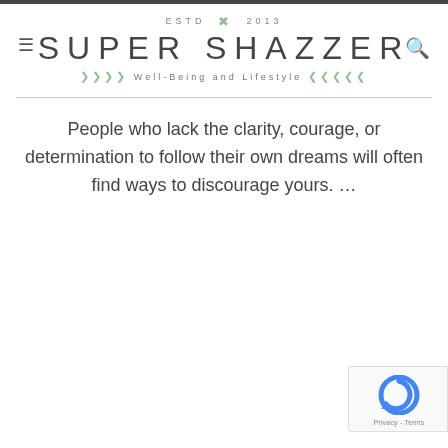SUPER SHAZZER — Well-Being and Lifestyle — ESTD 2013
People who lack the clarity, courage, or determination to follow their own dreams will often find ways to discourage yours. …